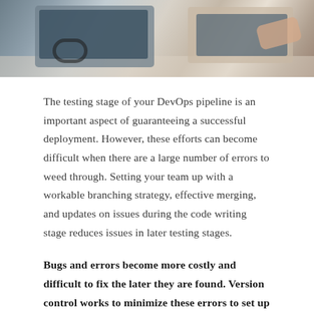[Figure (photo): Photo of a workspace/desk scene showing laptops, headphones, and hands working, viewed from above]
The testing stage of your DevOps pipeline is an important aspect of guaranteeing a successful deployment. However, these efforts can become difficult when there are a large number of errors to weed through. Setting your team up with a workable branching strategy, effective merging, and updates on issues during the code writing stage reduces issues in later testing stages.
Bugs and errors become more costly and difficult to fix the later they are found. Version control works to minimize these errors to set up later stages for success.